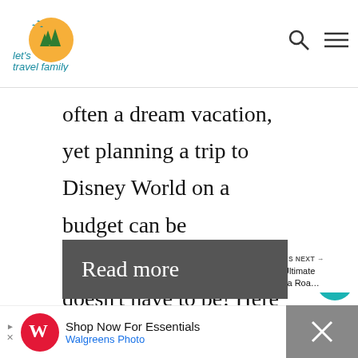let's travel family
often a dream vacation, yet planning a trip to Disney World on a budget can be challenging at times.  It doesn't have to be! Here are some of the top tips for planning a trip to Disney World on …
[Figure (screenshot): Read more button - dark grey button with white text 'Read more']
[Figure (infographic): What's Next section with thumbnail image and text 'The Ultimate Florida Roa...']
[Figure (screenshot): Advertisement bar: Walgreens Photo - Shop Now For Essentials]